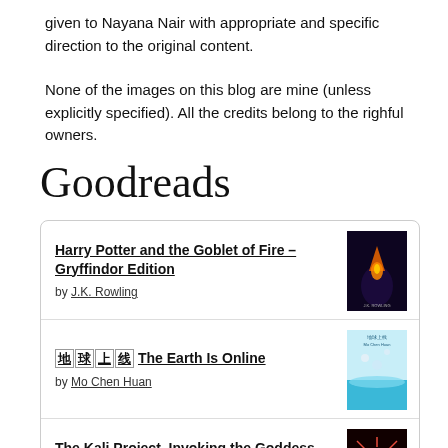given to Nayana Nair with appropriate and specific direction to the original content.
None of the images on this blog are mine (unless explicitly specified). All the credits belong to the righful owners.
Goodreads
| Book Title | Author | Cover |
| --- | --- | --- |
| Harry Potter and the Goblet of Fire – Gryffindor Edition | by J.K. Rowling | [cover image] |
| 地球上线 The Earth Is Online | by Mo Chen Huan | [cover image] |
| The Kali Project, Invoking the Goddess Within, Indian Women Speak | by Candice Louisa Daquin | [cover image] |